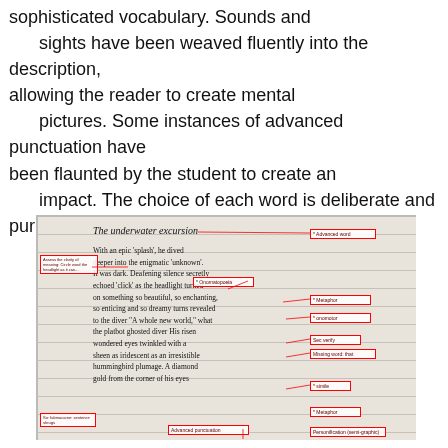sophisticated vocabulary. Sounds and sights have been weaved fluently into the description, allowing the reader to create mental pictures. Some instances of advanced punctuation have been flaunted by the student to create an impact. The choice of each word is deliberate and purposeful.
[Figure (photo): A photograph of a student's handwritten work in a notebook, annotated with red boxes and arrows pointing to literary devices such as Metaphor, onomatopoeia, simile, Missing word, Personification, Advanced punctuation, and other feedback labels. The handwritten text is titled 'The underwater excursion' and begins 'With an epic splash, he dived deeper into the enigmatic unknown...']